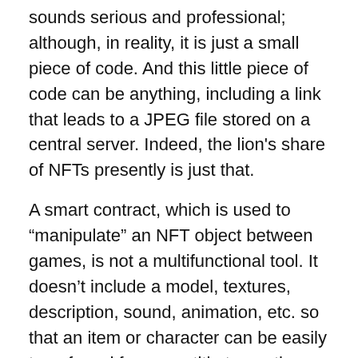sounds serious and professional; although, in reality, it is just a small piece of code. And this little piece of code can be anything, including a link that leads to a JPEG file stored on a central server. Indeed, the lion's share of NFTs presently is just that.
A smart contract, which is used to “manipulate” an NFT object between games, is not a multifunctional tool. It doesn’t include a model, textures, description, sound, animation, etc. so that an item or character can be easily transferred from one title to another. Thus, for the integration between two games to work, these games must be built, run and maintained through a single infrastructure or gaming engine. Such integrations currently don’t exist in the gaming industry.
Furthermore, an NFT game can work only if it has a